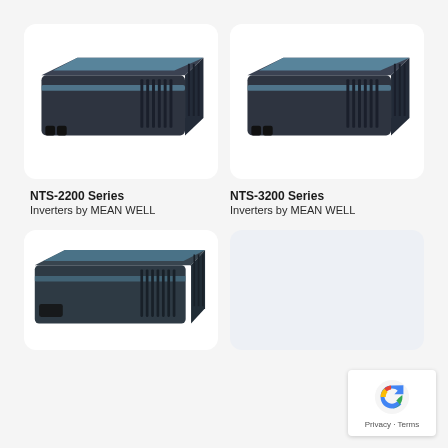[Figure (photo): NTS-2200 Series inverter by MEAN WELL, dark gray rectangular unit with blue stripe and ventilation grilles]
[Figure (photo): NTS-3200 Series inverter by MEAN WELL, dark gray rectangular unit with blue stripe and ventilation grilles]
NTS-2200 Series
Inverters by MEAN WELL
NTS-3200 Series
Inverters by MEAN WELL
[Figure (photo): Third MEAN WELL inverter unit, dark gray with blue accent stripe, smaller form factor]
[Figure (other): Blank light blue-gray placeholder card]